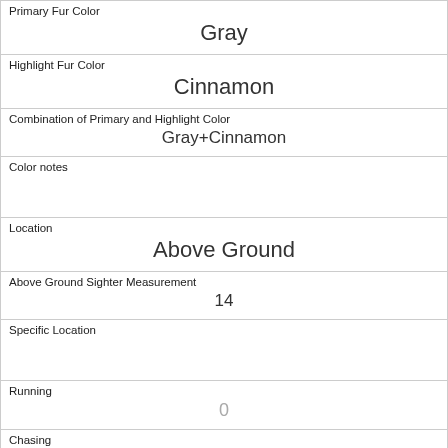| Primary Fur Color | Gray |
| Highlight Fur Color | Cinnamon |
| Combination of Primary and Highlight Color | Gray+Cinnamon |
| Color notes |  |
| Location | Above Ground |
| Above Ground Sighter Measurement | 14 |
| Specific Location |  |
| Running | 0 |
| Chasing | 0 |
| Climbing | 0 |
| Eating |  |